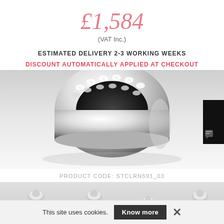£1,584
(VAT Inc.)
ESTIMATED DELIVERY 2-3 WORKING WEEKS
DISCOUNT AUTOMATICALLY APPLIED AT CHECKOUT
[Figure (photo): Close-up photograph of a diamond-set white gold or platinum ring, showing the band and pavé-set stones from the side angle, on a light grey gradient background.]
PRODUCT CODE: STCLRN591_03
[Figure (photo): Row of four diamond halo engagement ring thumbnail product images on a grey gradient background.]
Live Chat
This site uses cookies.
Know more
×